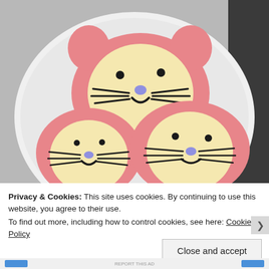[Figure (photo): Three pink cat-shaped cookies decorated with black icing whiskers, mouths, and dot eyes, with lavender-blue icing noses, arranged on a white plate. The cookies are pink with cream/yellow circular face centers.]
Privacy & Cookies: This site uses cookies. By continuing to use this website, you agree to their use.
To find out more, including how to control cookies, see here: Cookie Policy
Close and accept